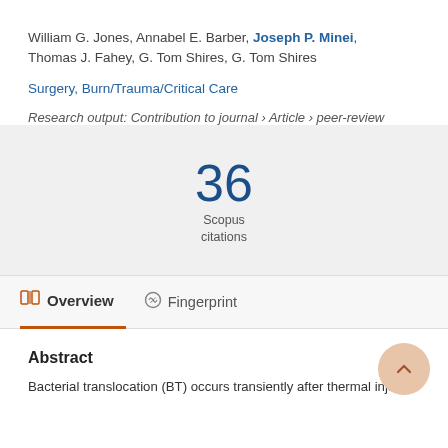William G. Jones, Annabel E. Barber, Joseph P. Minei, Thomas J. Fahey, G. Tom Shires, G. Tom Shires
Surgery, Burn/Trauma/Critical Care
Research output: Contribution to journal › Article › peer-review
36 Scopus citations
Overview
Fingerprint
Abstract
Bacterial translocation (BT) occurs transiently after thermal injury